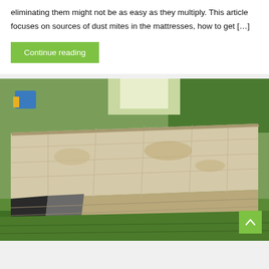eliminating them might not be as easy as they multiply. This article focuses on sources of dust mites in the mattresses, how to get […]
Continue reading
[Figure (photo): A worn, stained mattress lying on green grass outdoors, with a garden and trees visible in the background. The mattress appears old and dirty with visible stains and a torn corner.]